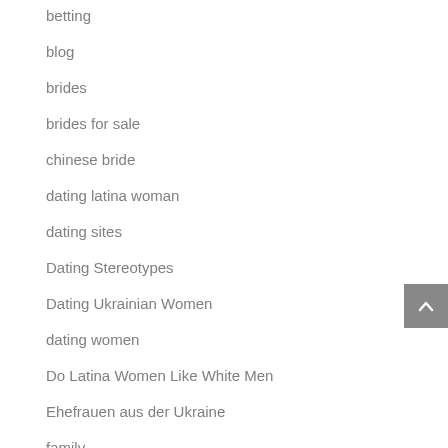betting
blog
brides
brides for sale
chinese bride
dating latina woman
dating sites
Dating Stereotypes
Dating Ukrainian Women
dating women
Do Latina Women Like White Men
Ehefrauen aus der Ukraine
family
filipino women
Find Girl For Marriage